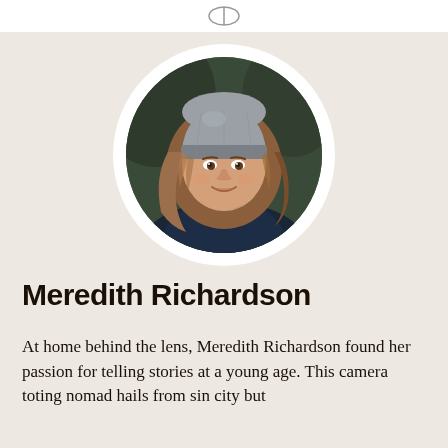[Figure (photo): Circular profile photo of Meredith Richardson, a woman with long auburn/blonde hair wearing a gray beanie hat and dark jacket, photographed outdoors with a blurred dark green background.]
Meredith Richardson
At home behind the lens, Meredith Richardson found her passion for telling stories at a young age. This camera toting nomad hails from sin city but